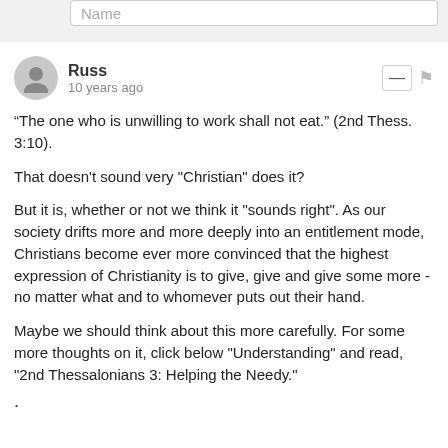Name
Russ
10 years ago
“The one who is unwilling to work shall not eat.” (2nd Thess. 3:10).

That doesn't sound very "Christian" does it?

But it is, whether or not we think it "sounds right". As our society drifts more and more deeply into an entitlement mode, Christians become ever more convinced that the highest expression of Christianity is to give, give and give some more - no matter what and to whomever puts out their hand.

Maybe we should think about this more carefully. For some more thoughts on it, click below "Understanding" and read, "2nd Thessalonians 3: Helping the Needy."
.